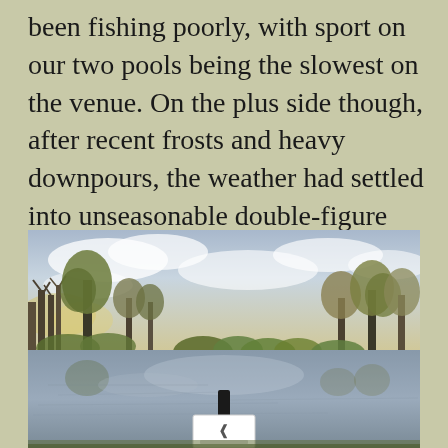been fishing poorly, with sport on our two pools being the slowest on the venue. On the plus side though, after recent frosts and heavy downpours, the weather had settled into unseasonable double-figure temperatures for several days. So who knows, perhaps both Willow and Annie's could be worth a few bites.
[Figure (photo): A scenic fishing lake or pool surrounded by bare autumn trees and green shrubbery, with a partly cloudy sky reflected in the calm water. In the foreground, a black post with a white sign featuring a stag logo is visible at the water's edge.]